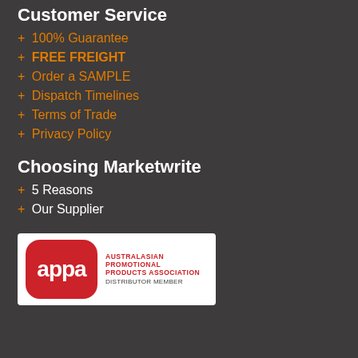Customer Service
+ 100% Guarantee
+ FREE FREIGHT
+ Order a SAMPLE
+ Dispatch Timelines
+ Terms of Trade
+ Privacy Policy
Choosing Marketwrite
+ 5 Reasons
+ Our Supplier
[Figure (logo): APPA - Australasian Promotional Products Association Distributor Member badge with red rounded rectangle logo and text]